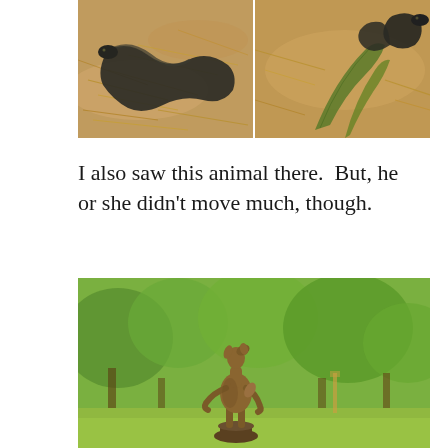[Figure (photo): Two side-by-side photos of a dark snake among dried pine needles and grass on sandy ground]
I also saw this animal there.  But, he or she didn't move much, though.
[Figure (photo): A bronze statue of a deer or fawn standing on its hind legs on a pedestal, set in a green garden with trees in the background]